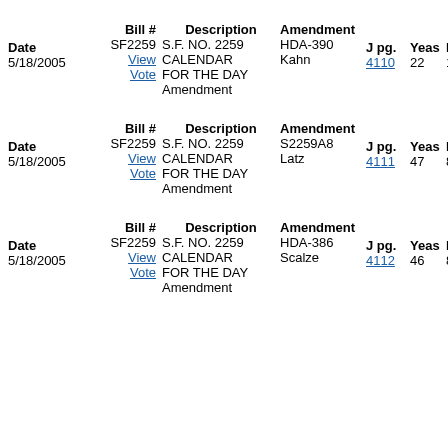| Date | Bill # | Description | Amendment | J pg. | Yeas | Nay |
| --- | --- | --- | --- | --- | --- | --- |
| 5/18/2005 | SF2259 | S.F. NO. 2259 CALENDAR FOR THE DAY Amendment | HDA-390 Kahn | 4110 | 22 | 110 |
| 5/18/2005 | SF2259 | S.F. NO. 2259 CALENDAR FOR THE DAY Amendment | S2259A8 Latz | 4111 | 47 | 86 |
| 5/18/2005 | SF2259 | S.F. NO. 2259 CALENDAR FOR THE DAY Amendment | HDA-386 Scalze | 4112 | 46 | 86 |